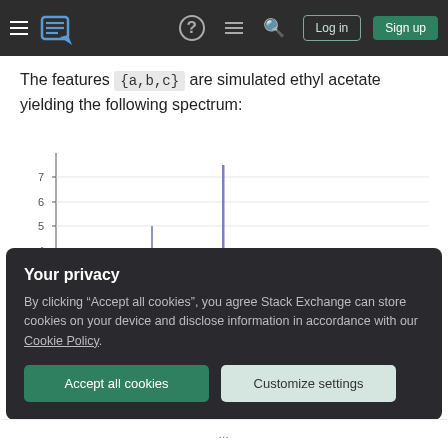Stack Exchange navigation bar with hamburger menu, logo, help, chat, search, Log in, Sign up buttons
The features {a,b,c} are simulated ethyl acetate yielding the following spectrum:
[Figure (continuous-plot): NMR/mass spectrum chart showing intensity (y-axis, values 2-7+) vs chemical shift or m/z. Several sharp peaks visible: a group of peaks near x~0.33 chart width reaching ~5 and ~2.5 intensity; a tall peak near x~0.50 reaching ~7.5 intensity; and peaks near x~0.87 reaching ~3.7 intensity. Blue/purple colored spikes on white background with gray y-axis gridlines and tick marks.]
Your privacy
By clicking “Accept all cookies”, you agree Stack Exchange can store cookies on your device and disclose information in accordance with our Cookie Policy.
Accept all cookies
Customize settings